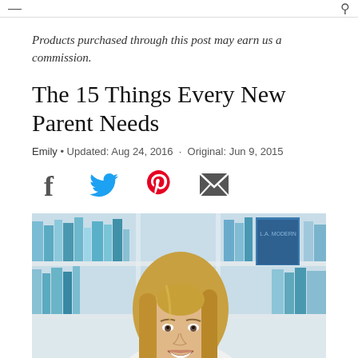Products purchased through this post may earn us a commission.
The 15 Things Every New Parent Needs
Emily • Updated: Aug 24, 2016  ·  Original: Jun 9, 2015
[Figure (infographic): Social sharing icons: Facebook, Twitter, Pinterest, Email]
[Figure (photo): A smiling young woman with long blonde hair in front of a bookshelf with blue and teal books]